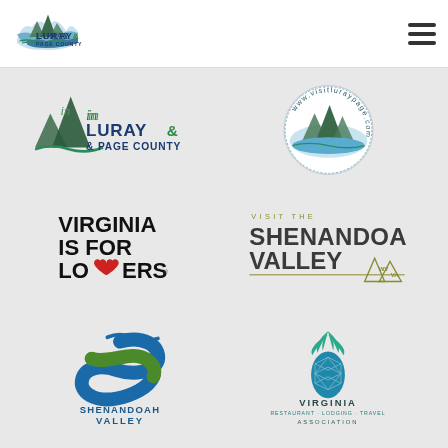[Figure (logo): Luray & Page County logo with mountain and river graphic, top left header]
[Figure (logo): Hamburger menu icon, top right header]
[Figure (logo): Luray & Page County partial logo with text 'in LURAY & PAGE COUNTY', partially visible top-left]
[Figure (logo): Circular 'www.visitluraypage.com' logo with mountain/river graphic]
[Figure (logo): Virginia Is For Lovers logo in bold black with red heart]
[Figure (logo): Visit The Shenandoah Valley logo with mountain outline and WV/VA state labels]
[Figure (logo): Shenandoah Valley S-swoosh logo in blue and green]
[Figure (logo): Virginia Restaurant Lodging Travel Association with teal pineapple icon]